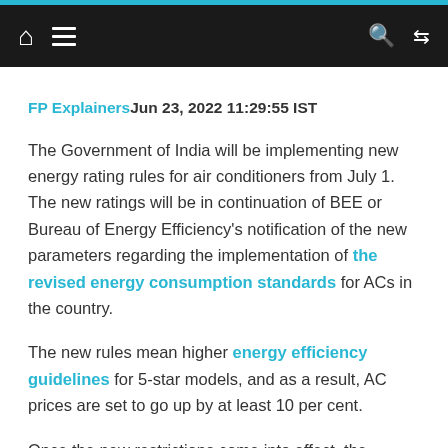Navigation bar with home, menu, search, and shuffle icons
FP Explainers Jun 23, 2022 11:29:55 IST
The Government of India will be implementing new energy rating rules for air conditioners from July 1. The new ratings will be in continuation of BEE or Bureau of Energy Efficiency's notification of the new parameters regarding the implementation of the revised energy consumption standards for ACs in the country.
The new rules mean higher energy efficiency guidelines for 5-star models, and as a result, AC prices are set to go up by at least 10 per cent.
Once the new restrictions come into effect, the